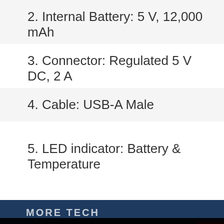2. Internal Battery: 5 V, 12,000 mAh
3. Connector: Regulated 5 V DC, 2 A
4. Cable: USB-A Male
5. LED indicator: Battery & Temperature
MORE TECH
This website uses cookies to ensure you get the best experience on our website.
Learn more
Got it!
[Figure (photo): Dark background photo showing text 'You' and a red badge/button, partially obscured by cookie consent overlay]